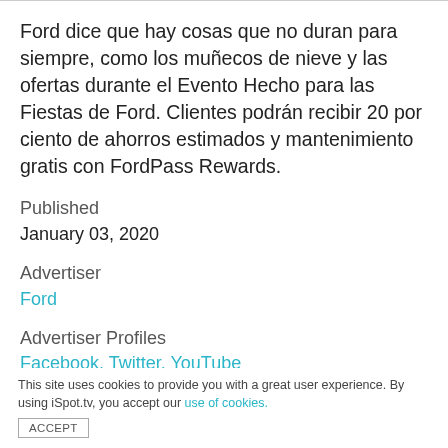Ford dice que hay cosas que no duran para siempre, como los muñecos de nieve y las ofertas durante el Evento Hecho para las Fiestas de Ford. Clientes podrán recibir 20 por ciento de ahorros estimados y mantenimiento gratis con FordPass Rewards.
Published
January 03, 2020
Advertiser
Ford
Advertiser Profiles
Facebook, Twitter, YouTube
This site uses cookies to provide you with a great user experience. By using iSpot.tv, you accept our use of cookies.